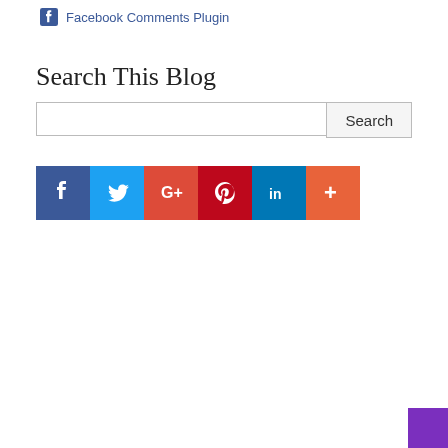Facebook Comments Plugin
Search This Blog
[Figure (infographic): Social media share buttons row: Facebook (dark blue), Twitter (light blue), Google+ (red), Pinterest (dark red), LinkedIn (blue), More (orange-red)]